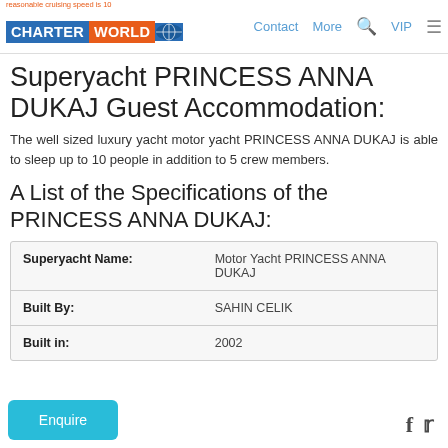reasonable cruising speed is 10 | CHARTERWORLD | Contact | More | VIP
Superyacht PRINCESS ANNA DUKAJ Guest Accommodation:
The well sized luxury yacht motor yacht PRINCESS ANNA DUKAJ is able to sleep up to 10 people in addition to 5 crew members.
A List of the Specifications of the PRINCESS ANNA DUKAJ:
| Field | Value |
| --- | --- |
| Superyacht Name: | Motor Yacht PRINCESS ANNA DUKAJ |
| Built By: | SAHIN CELIK |
| Built in: | 2002 |